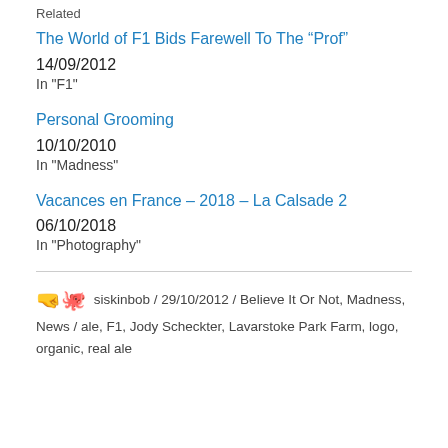Related
The World of F1 Bids Farewell To The “Prof”
14/09/2012
In "F1"
Personal Grooming
10/10/2010
In "Madness"
Vacances en France – 2018 – La Calsade 2
06/10/2018
In "Photography"
siskinbob / 29/10/2012 / Believe It Or Not, Madness, News / ale, F1, Jody Scheckter, Lavarstoke Park Farm, logo, organic, real ale